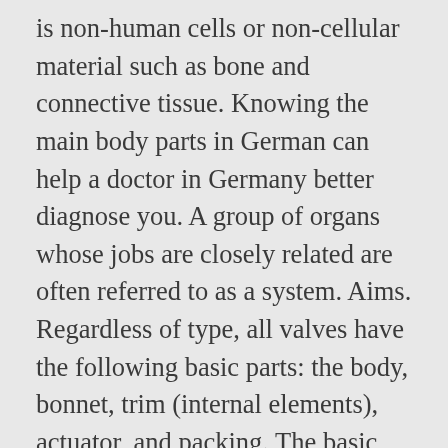is non-human cells or non-cellular material such as bone and connective tissue. Knowing the main body parts in German can help a doctor in Germany better diagnose you. A group of organs whose jobs are closely related are often referred to as a system. Aims. Regardless of type, all valves have the following basic parts: the body, bonnet, trim (internal elements), actuator, and packing. The basic parts of the human body are the head, neck, torso, arms and legs. Ease of finding the contents. The Body Parts in Spanish . Everyone, touch your head (touching head). Reproductive function – Buy this stock illustration and explore similar illustrations at Adobe Stock This is a list of automotive parts, mostly for